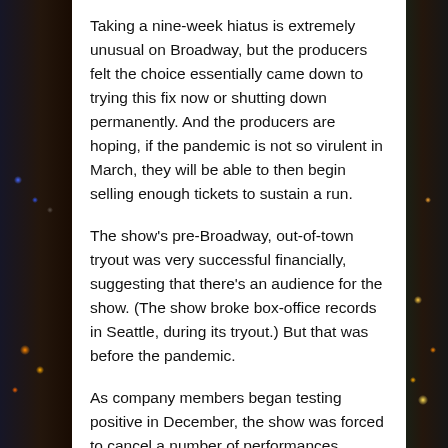Taking a nine-week hiatus is extremely unusual on Broadway, but the producers felt the choice essentially came down to trying this fix now or shutting down permanently. And the producers are hoping, if the pandemic is not so virulent in March, they will be able to then begin selling enough tickets to sustain a run.
The show's pre-Broadway, out-of-town tryout was very successful financially, suggesting that there's an audience for the show. (The show broke box-office records in Seattle, during its tryout.) But that was before the pandemic.
As company members began testing positive in December, the show was forced to cancel a number of performances, costing the production a lot of